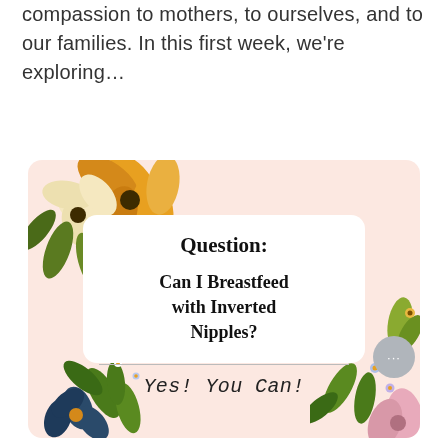compassion to mothers, to ourselves, and to our families. In this first week, we're exploring...
[Figure (illustration): A decorative card with a light pink background and floral illustrations in the corners. A white rounded rectangle card in the center contains bold text reading 'Question:' and 'Can I Breastfeed with Inverted Nipples?' with a horizontal divider, below which italic cursive text reads 'Yes! You Can!' A small gray circular chat bubble icon appears at the bottom right.]